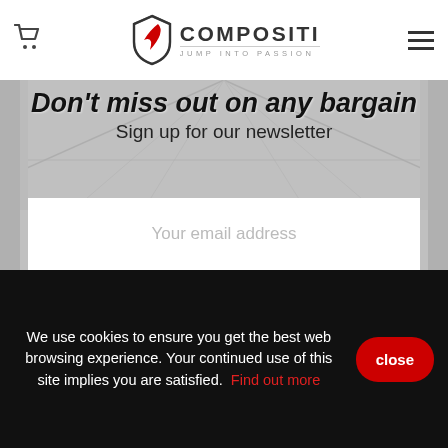[Figure (logo): Compositi logo with shield icon containing a red swoosh, brand name COMPOSITI and tagline JUMP INTO PASSION]
Don't miss out on any bargain
Sign up for our newsletter
Your email address
Subscribe
We use cookies to ensure you get the best web browsing experience. Your continued use of this site implies you are satisfied. Find out more
close